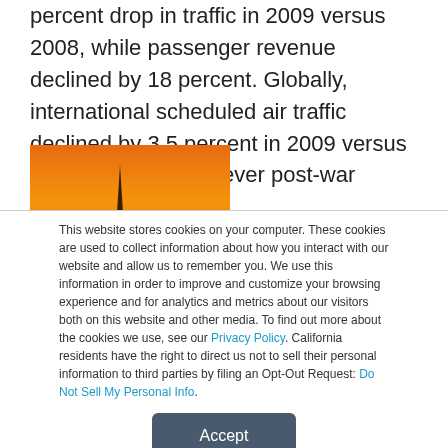percent drop in traffic in 2009 versus 2008, while passenger revenue declined by 18 percent. Globally, international scheduled air traffic declined by 3.5 percent in 2009 versus 2008 — the largest ever post-war decline.
[Figure (photo): Partial photo showing an orange/amber sky with a dark vertical silhouette (possibly an aircraft tail or antenna) against the warm background.]
This website stores cookies on your computer. These cookies are used to collect information about how you interact with our website and allow us to remember you. We use this information in order to improve and customize your browsing experience and for analytics and metrics about our visitors both on this website and other media. To find out more about the cookies we use, see our Privacy Policy. California residents have the right to direct us not to sell their personal information to third parties by filing an Opt-Out Request: Do Not Sell My Personal Info.